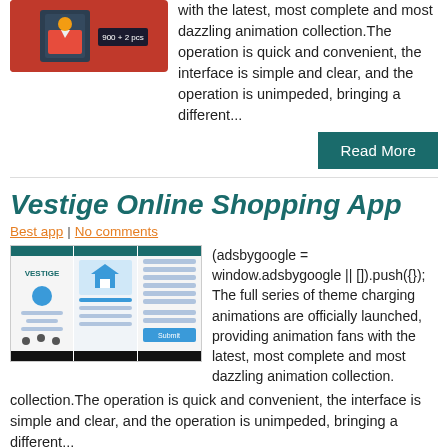[Figure (screenshot): App screenshot with red background and a price badge showing '900']
with the latest, most complete and most dazzling animation collection.The operation is quick and convenient, the interface is simple and clear, and the operation is unimpeded, bringing a different...
Read More
Vestige Online Shopping App
Best app | No comments
[Figure (screenshot): Three mobile app screens for Vestige Online Shopping App showing home screen, product screen, and checkout screen]
(adsbygoogle = window.adsbygoogle || []).push({});    The full series of theme charging animations are officially launched, providing animation fans with the latest, most complete and most dazzling animation collection.The operation is quick and convenient, the interface is simple and clear, and the operation is unimpeded, bringing a different...
Read More
FileHippo
Best app | No comments